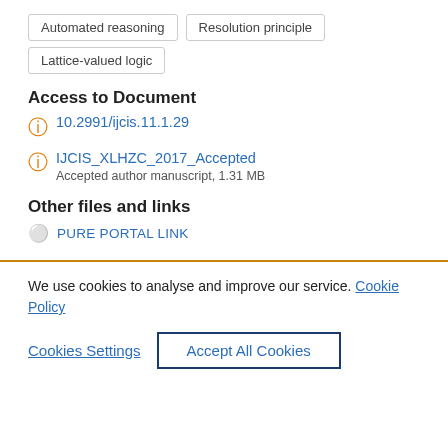Automated reasoning
Resolution principle
Lattice-valued logic
Access to Document
10.2991/ijcis.11.1.29
IJCIS_XLHZC_2017_Accepted
Accepted author manuscript, 1.31 MB
Other files and links
PURE PORTAL LINK
We use cookies to analyse and improve our service. Cookie Policy
Cookies Settings
Accept All Cookies